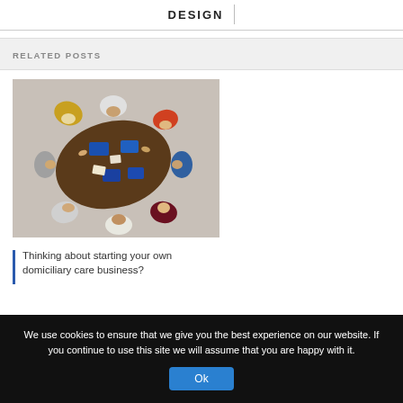DESIGN
RELATED POSTS
[Figure (photo): Overhead/top-down view of people sitting around a conference table with laptops and documents, collaborating at a meeting.]
Thinking about starting your own domiciliary care business?
We use cookies to ensure that we give you the best experience on our website. If you continue to use this site we will assume that you are happy with it.